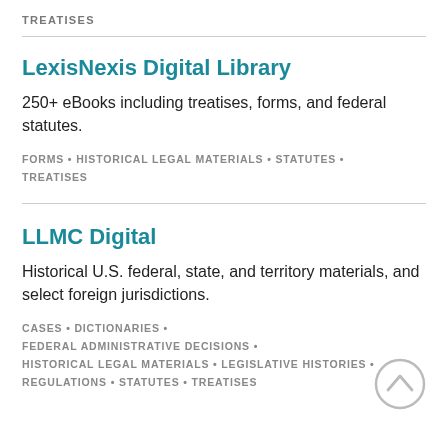TREATISES
LexisNexis Digital Library
250+ eBooks including treatises, forms, and federal statutes.
FORMS • HISTORICAL LEGAL MATERIALS • STATUTES • TREATISES
LLMC Digital
Historical U.S. federal, state, and territory materials, and select foreign jurisdictions.
CASES • DICTIONARIES • FEDERAL ADMINISTRATIVE DECISIONS • HISTORICAL LEGAL MATERIALS • LEGISLATIVE HISTORIES • REGULATIONS • STATUTES • TREATISES